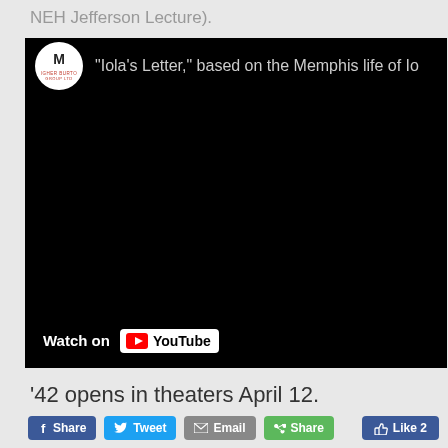NEH Jefferson Lecture).
[Figure (screenshot): Embedded YouTube video player showing a black screen with a logo circle (M / Higher Burton Group Ltd) and partial title text "Iola's Letter," based on the Memphis life of Io... A 'Watch on YouTube' button appears at the bottom left.]
'42 opens in theaters April 12.
Share  Tweet  Email  Share  Like 2